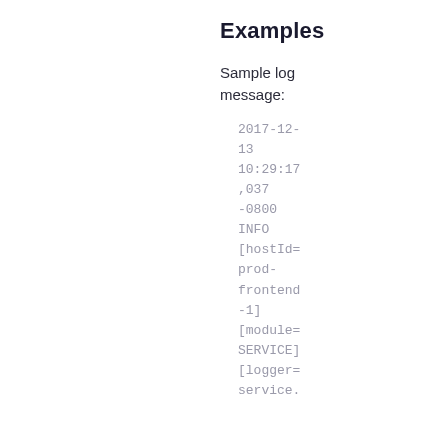Examples
Sample log message:
2017-12-13 10:29:17,037 -0800 INFO [hostId=prod-frontend-1] [module=SERVICE] [logger=service.